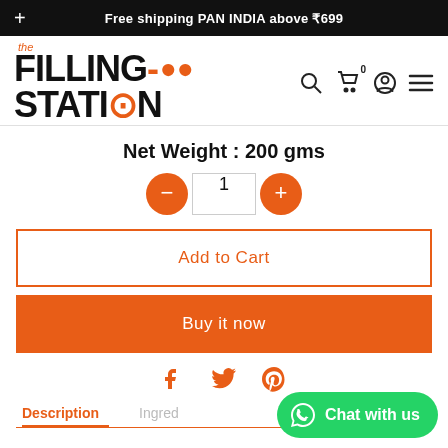Free shipping PAN INDIA above ₹699
[Figure (logo): The Filling Station logo with orange and black text]
Net Weight : 200 gms
[Figure (infographic): Quantity selector with minus button, 1, and plus button]
[Figure (infographic): Add to Cart button with orange border]
[Figure (infographic): Buy it now button with orange background]
[Figure (infographic): Social share icons: Facebook, Twitter, Pinterest]
Description
Ingred
[Figure (infographic): Chat with us button (WhatsApp green)]